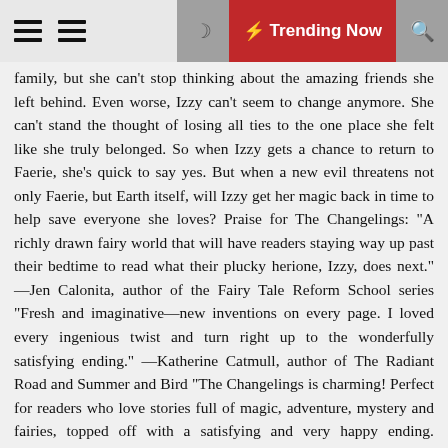≡ ≡  🌙  ⚡ Trending Now  🔍
family, but she can't stop thinking about the amazing friends she left behind. Even worse, Izzy can't seem to change anymore. She can't stand the thought of losing all ties to the one place she felt like she truly belonged. So when Izzy gets a chance to return to Faerie, she's quick to say yes. But when a new evil threatens not only Faerie, but Earth itself, will Izzy get her magic back in time to help save everyone she loves? Praise for The Changelings: "A richly drawn fairy world that will have readers staying way up past their bedtime to read what their plucky herione, Izzy, does next." —Jen Calonita, author of the Fairy Tale Reform School series "Fresh and imaginative—new inventions on every page. I loved every ingenious twist and turn right up to the wonderfully satisfying ending." —Katherine Catmull, author of The Radiant Road and Summer and Bird "The Changelings is charming! Perfect for readers who love stories full of magic, adventure, mystery and fairies, topped off with a satisfying and very happy ending. Soontornvat's debut sparkles and delights!" —Nikki Loftin, author of The Sinister Sweetness of Splendid Academy